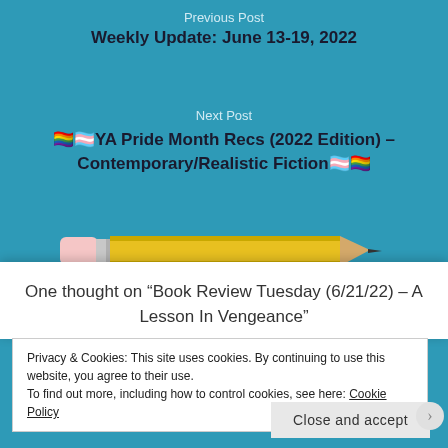Previous Post
Weekly Update: June 13-19, 2022
Next Post
🏳️‍🌈🏳️‍⚧️YA Pride Month Recs (2022 Edition) – Contemporary/Realistic Fiction🏳️‍⚧️🏳️‍🌈
[Figure (illustration): Illustration of a yellow pencil]
One thought on “Book Review Tuesday (6/21/22) – A Lesson In Vengeance”
Privacy & Cookies: This site uses cookies. By continuing to use this website, you agree to their use.
To find out more, including how to control cookies, see here: Cookie Policy
Close and accept